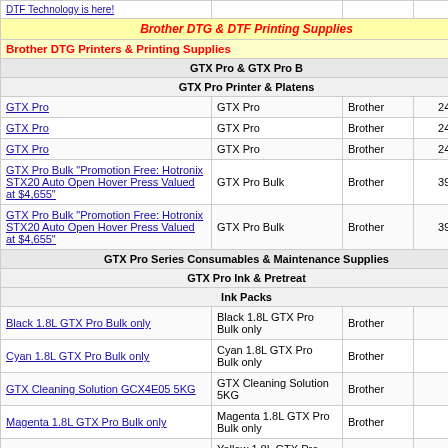| Product | Description | Brand | Price |
| --- | --- | --- | --- |
| DTF Technology is here! |  |  | 0.00 |
| Brother DTG & DTF Printing Supplies |  |  |  |
| Brother DTG Printers & Printing Supplies |  |  |  |
| GTX Pro & GTX Pro B |  |  |  |
| GTX Pro Printer & Platens |  |  |  |
| GTX Pro | GTX Pro | Brother | 24,776.00 |
| GTX Pro | GTX Pro | Brother | 24,776.00 |
| GTX Pro | GTX Pro | Brother | 24,776.00 |
| GTX Pro Bulk "Promotion Free: Hotronix STX20 Auto Open Hover Press Valued at $4,655" | GTX Pro Bulk | Brother | 39,816.00 |
| GTX Pro Bulk "Promotion Free: Hotronix STX20 Auto Open Hover Press Valued at $4,655" | GTX Pro Bulk | Brother | 39,816.00 |
| GTX Pro Series Consumables & Maintenance Supplies |  |  |  |
| GTX Pro Ink & Pretreat |  |  |  |
| Ink Packs |  |  |  |
| Black 1.8L GTX Pro Bulk only | Black 1.8L GTX Pro Bulk only | Brother | 590.00 |
| Cyan 1.8L GTX Pro Bulk only | Cyan 1.8L GTX Pro Bulk only | Brother | 590.00 |
| GTX Cleaning Solution GCX4E05 5KG | GTX Cleaning Solution 5KG | Brother | 235.00 |
| Magenta 1.8L GTX Pro Bulk only | Magenta 1.8L GTX Pro Bulk only | Brother | 590.00 |
| Yellow 1.8L GTX Pro Bulk only | Yellow 1.8L GTX Pro Bulk only | Brother | 590.00 |
| GTX Pro Maintenance Supplies |  |  |  |